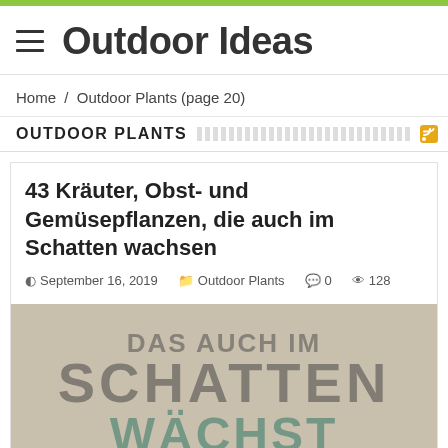Outdoor Ideas
Home / Outdoor Plants (page 20)
OUTDOOR PLANTS
43 Kräuter, Obst- und Gemüsepflanzen, die auch im Schatten wachsen
September 16, 2019  Outdoor Plants  0  128
[Figure (photo): Article thumbnail image showing large text reading 'DAS AUCH IM SCHATTEN WÄCHST' on a muted beige/green background]